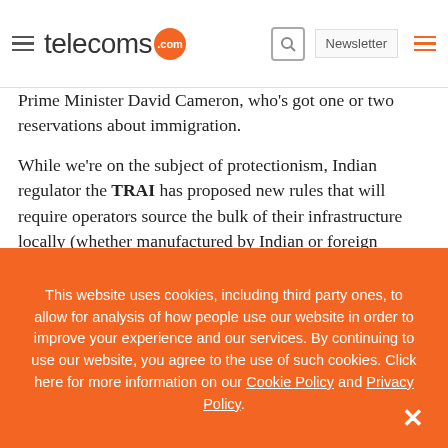telecoms.com — Newsletter
Prime Minister David Cameron, who's got one or two reservations about immigration.

While we're on the subject of protectionism, Indian regulator the TRAI has proposed new rules that will require operators source the bulk of their infrastructure locally (whether manufactured by Indian or foreign companies). The rules require that 30 per cent of kit purchased by 2013 be sourced in
This website uses cookies, including third party ones, to allow for analysis of how people use our website in order to improve your experience and our services. By continuing to use our website, you agree to the use of such cookies. Click here for more information on our Cookie Policy and Privacy Policy.